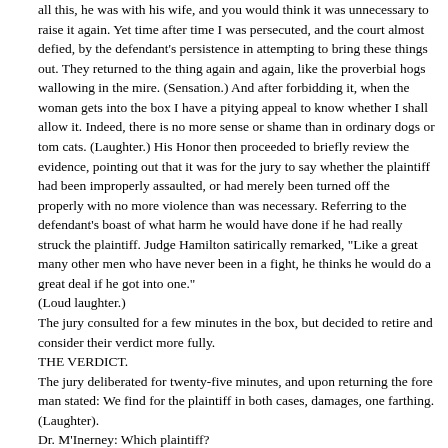all this, he was with his wife, and you would think it was unnecessary to raise it again. Yet time after time I was persecuted, and the court almost defied, by the defendant's persistence in attempting to bring these things out. They returned to the thing again and again, like the proverbial hogs wallowing in the mire. (Sensation.) And after forbidding it, when the woman gets into the box I have a pitying appeal to know whether I shall allow it. Indeed, there is no more sense or shame than in ordinary dogs or tom cats. (Laughter.) His Honor then proceeded to briefly review the evidence, pointing out that it was for the jury to say whether the plaintiff had been improperly assaulted, or had merely been turned off the properly with no more violence than was necessary. Referring to the defendant's boast of what harm he would have done if he had really struck the plaintiff. Judge Hamilton satirically remarked, "Like a great many other men who have never been in a fight, he thinks he would do a great deal if he got into one."
(Loud laughter.)
The jury consulted for a few minutes in the box, but decided to retire and consider their verdict more fully.
THE VERDICT.
The jury deliberated for twenty-five minutes, and upon returning the fore man stated: We find for the plaintiff in both cases, damages, one farthing.
(Laughter).
Dr. M'Inerney: Which plaintiff?
Judge Hamilton: What do you mean, gentlemen?
The foreman: We find for de Goey in the one case, and Wheeler in the other.
(Laughter).
Judge Hamilton (laughingly): Is that so, gentlemen?
The foreman (gravely): That is so.
Dr. M'Inerney: There is a rule in the court which won't allow of a verdict being